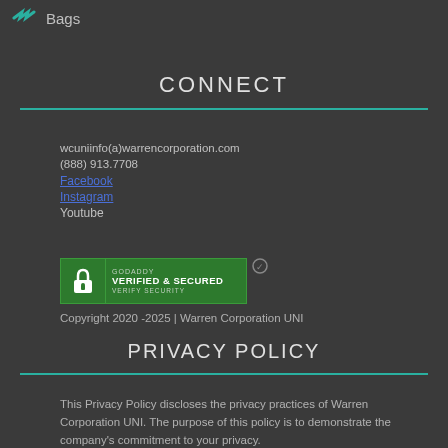Bags
CONNECT
wcuniinfo(a)warrencorporation.com
(888) 913.7708
Facebook
Instagram
Youtube
[Figure (logo): GoDaddy Verified & Secured badge with lock icon]
Copyright 2020 -2025 | Warren Corporation UNI
PRIVACY POLICY
This Privacy Policy discloses the privacy practices of Warren Corporation UNI. The purpose of this policy is to demonstrate the company's commitment to your privacy.